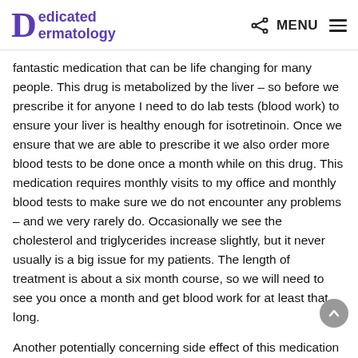Dedicated Dermatology | MENU
fantastic medication that can be life changing for many people. This drug is metabolized by the liver – so before we prescribe it for anyone I need to do lab tests (blood work) to ensure your liver is healthy enough for isotretinoin. Once we ensure that we are able to prescribe it we also order more blood tests to be done once a month while on this drug. This medication requires monthly visits to my office and monthly blood tests to make sure we do not encounter any problems – and we very rarely do. Occasionally we see the cholesterol and triglycerides increase slightly, but it never usually is a big issue for my patients. The length of treatment is about a six month course, so we will need to see you once a month and get blood work for at least that long.
Another potentially concerning side effect of this medication is the possibility for it to cause severe birth defects for any female patient that gets pregnant while on Isotretinoin. This drug gets passed through the placenta to the baby and can affect organ